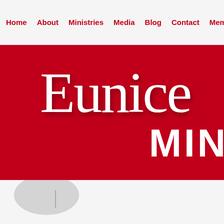Home  About  Ministries  Media  Blog  Contact  Member
[Figure (illustration): Red hero banner with large white cursive script text reading 'Eunice' and bold white uppercase text 'MIN' on the right side, on a crimson/red background]
[Figure (other): Partial grey circle/oval shape below the hero banner, resembling a play button or icon element]
Testo max 17 como tomar, decadurabolin tipos